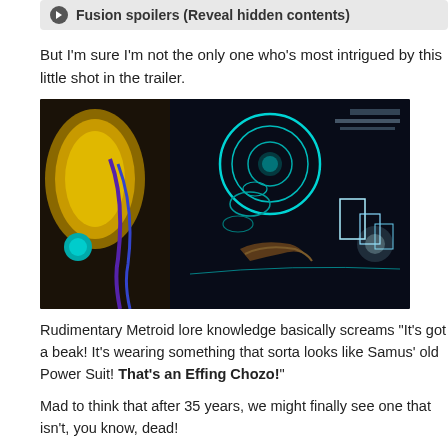Fusion spoilers (Reveal hidden contents)
But I'm sure I'm not the only one who's most intrigued by this little shot in the trailer.
[Figure (screenshot): Screenshot from a Metroid Dread trailer showing Samus in her golden Power Suit on the left, and a creature with a beak and holographic displays in a dark sci-fi environment on the right.]
Rudimentary Metroid lore knowledge basically screams "It's got a beak! It's wearing something that sorta looks like Samus' old Power Suit! That's an Effing Chozo!"
Mad to think that after 35 years, we might finally see one that isn't, you know, dead!